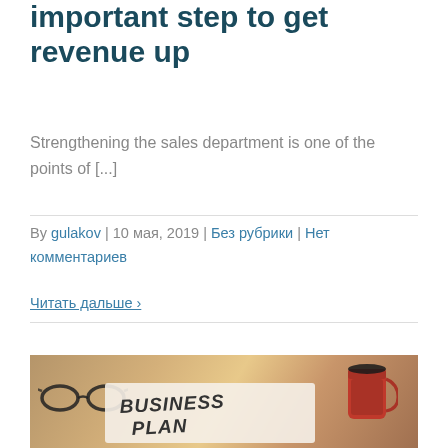important step to get revenue up
Strengthening the sales department is one of the points of [...]
By gulakov | 10 мая, 2019 | Без рубрики | Нет комментариев
Читать дальше ›
[Figure (photo): Photo of a business plan notebook with glasses and a red coffee mug on a wooden desk]